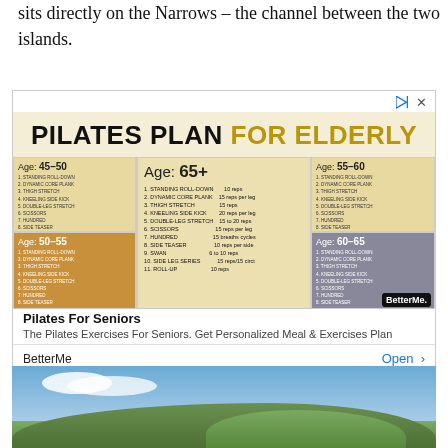sits directly on the Narrows – the channel between the two islands.
[Figure (infographic): Advertisement for BetterMe app: 'PILATES PLAN FOR ELDERLY' showing illustrated women in different age groups (45-50, 50-55, 55-60, 60-65, 65+) with exercise lists. Bottom shows product name 'Pilates For Seniors', description, brand 'BetterMe', and Open button.]
[Figure (photo): Outdoor landscape photo showing green hills/mountains under a partly cloudy blue sky.]